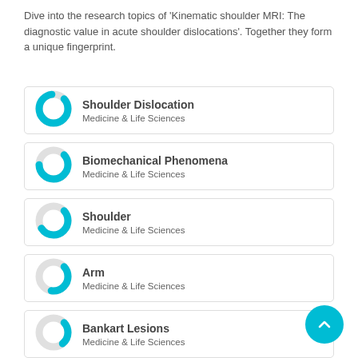Dive into the research topics of 'Kinematic shoulder MRI: The diagnostic value in acute shoulder dislocations'. Together they form a unique fingerprint.
Shoulder Dislocation — Medicine & Life Sciences
Biomechanical Phenomena — Medicine & Life Sciences
Shoulder — Medicine & Life Sciences
Arm — Medicine & Life Sciences
Bankart Lesions — Medicine & Life Sciences